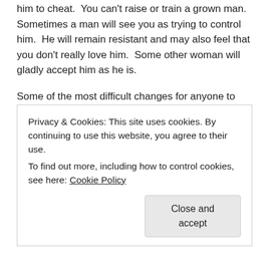him to cheat. You can't raise or train a grown man. Sometimes a man will see you as trying to control him. He will remain resistant and may also feel that you don't really love him. Some other woman will gladly accept him as he is.
Some of the most difficult changes for anyone to make immediately are overcoming:
Addiction
Immaturity
Workaholic
Womanizer
Abusive behavior
Privacy & Cookies: This site uses cookies. By continuing to use this website, you agree to their use.
To find out more, including how to control cookies, see here: Cookie Policy